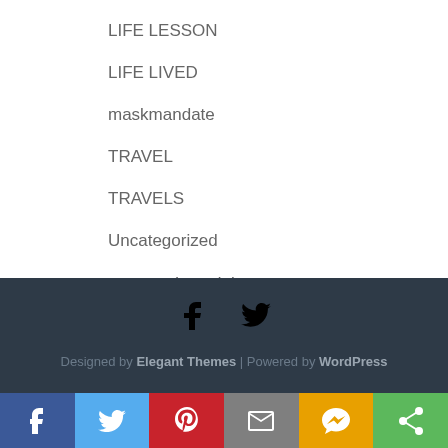LIFE LESSON
LIFE LIVED
maskmandate
TRAVEL
TRAVELS
Uncategorized
unprecedented times
Designed by Elegant Themes | Powered by WordPress